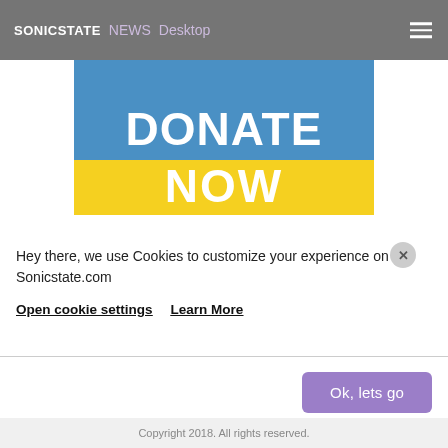SONICSTATE NEWS Desktop
[Figure (other): Donate Now banner with blue top half and yellow bottom half. Large white bold text reads DONATE NOW.]
Hey there, we use Cookies to customize your experience on Sonicstate.com
Open cookie settings  Learn More
Ok, lets go
Copyright 2018. All rights reserved.